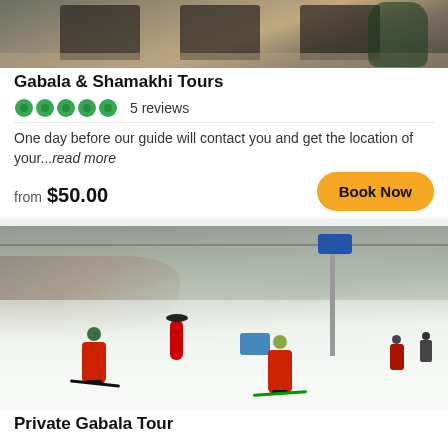[Figure (photo): Patio/terrace area with outdoor furniture, top portion of listing card image]
Gabala & Shamakhi Tours
5 reviews
One day before our guide will contact you and get the location of your...read more
from $50.00
Book Now
[Figure (photo): Winter ski slope scene with skiers in red jackets, snow, trees covered in frost, and cable car gondola in background]
Private Gabala Tour